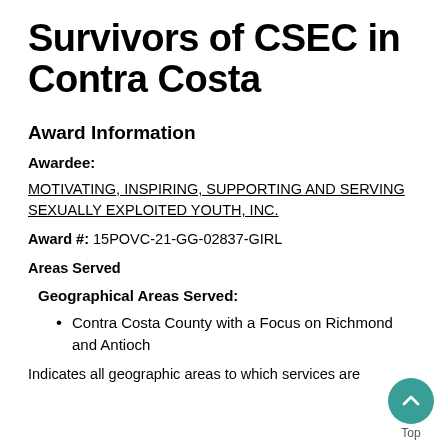Survivors of CSEC in Contra Costa
Award Information
Awardee:
MOTIVATING, INSPIRING, SUPPORTING AND SERVING SEXUALLY EXPLOITED YOUTH, INC.
Award #: 15POVC-21-GG-02837-GIRL
Areas Served
Geographical Areas Served:
Contra Costa County with a Focus on Richmond and Antioch
Indicates all geographic areas to which services are